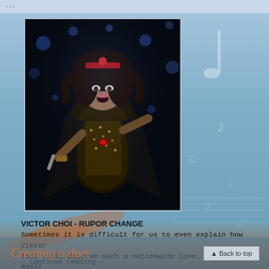...
[Figure (photo): A female performer (resembling Cher) singing on stage, wearing a black and gold feathered costume with a red jewel brooch, holding a microphone, with dark blue bokeh stage lighting background.]
VICTOR CHOI - RUPOR CHANGE
Sometimes it is difficult for us to even explain how Viktor Tsoi could deserve such a nationwide love. He wrote music and sang songs that awakened people, removed from their...
Continue reading →
Creating a duet
▲ Back to top